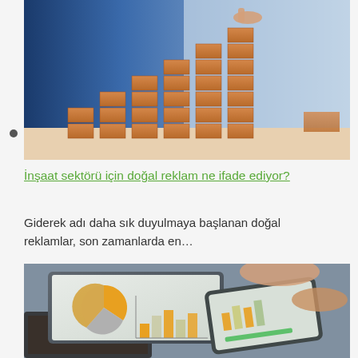[Figure (photo): Business person placing brick on top of stacked bricks arranged like a bar chart, representing construction sector growth]
İnşaat sektörü için doğal reklam ne ifade ediyor?
Giderek adı daha sık duyulmaya başlanan doğal reklamlar, son zamanlarda en...
[Figure (photo): Hands using tablet and smartphone showing charts and graphs including pie chart with yellow and grey segments]